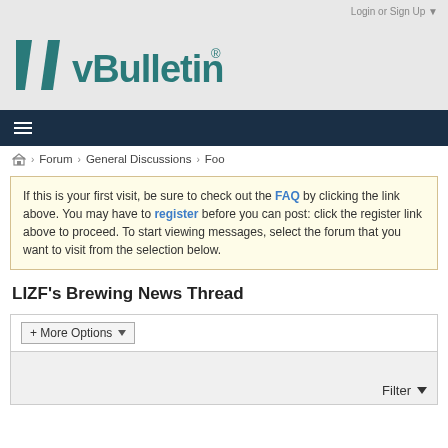Login or Sign Up ▼
[Figure (logo): vBulletin logo with stylized 'vBulletin®' text in dark teal on light gray background]
≡ (navigation menu icon)
🏠 > Forum > General Discussions > Foo
If this is your first visit, be sure to check out the FAQ by clicking the link above. You may have to register before you can post: click the register link above to proceed. To start viewing messages, select the forum that you want to visit from the selection below.
LIZF's Brewing News Thread
+ More Options ▼
Filter ▼